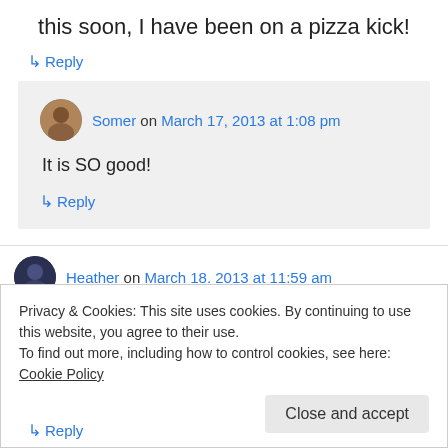this soon, I have been on a pizza kick!
↳ Reply
Somer on March 17, 2013 at 1:08 pm
It is SO good!
↳ Reply
Heather on March 18. 2013 at 11:59 am
Privacy & Cookies: This site uses cookies. By continuing to use this website, you agree to their use.
To find out more, including how to control cookies, see here: Cookie Policy
↳ Reply